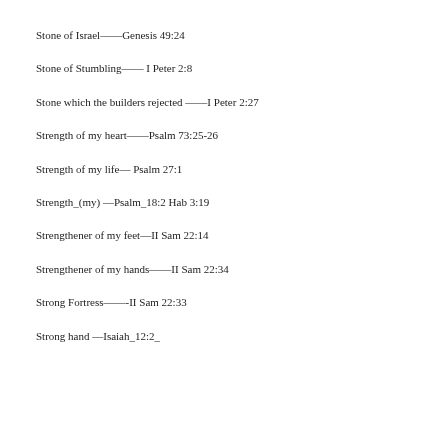Stone of Israel——Genesis 49:24
Stone of Stumbling—— I Peter 2:8
Stone which the builders rejected ——I Peter 2:27
Strength of my heart——Psalm 73:25-26
Strength of my life— Psalm 27:1
Strength_(my) —Psalm_18:2 Hab 3:19
Strengthener of my feet—II Sam 22:14
Strengthener of my hands——II Sam 22:34
Strong Fortress——-II Sam 22:33
Strong hand —Isaiah_12:2_